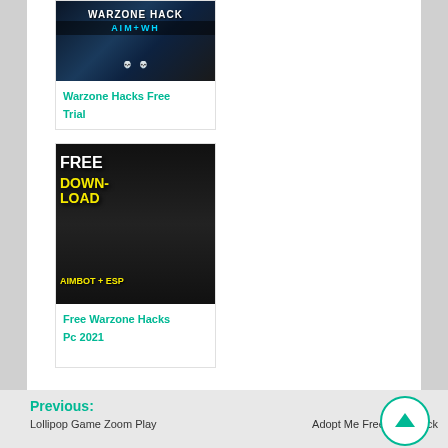[Figure (screenshot): Card image for Warzone Hacks Free Trial showing dark gaming background with 'WARZONE HACK' and 'AIM+WH' text with skull icons]
Warzone Hacks Free Trial
[Figure (screenshot): Card image showing 'FREE DOWNLOAD AIMBOT + ESP' text in white and yellow on dark background with armored figure]
Free Warzone Hacks Pc 2021
Previous:
Lollipop Game Zoom Play
Adopt Me Free Pets Hack